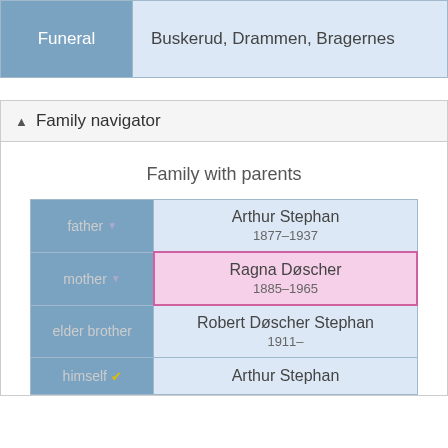|  |  |
| --- | --- |
| Funeral | Buskerud, Drammen, Bragernes |
Family navigator
Family with parents
| Role | Person |
| --- | --- |
| father | Arthur Stephan
1877–1937 |
| mother | Ragna Døscher
1885–1965 |
| elder brother | Robert Døscher Stephan
1911– |
| himself | Arthur Stephan |